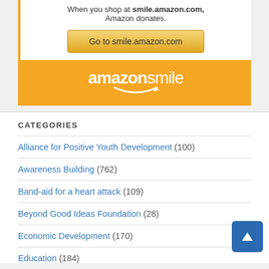When you shop at smile.amazon.com, Amazon donates.
[Figure (other): Button linking to smile.amazon.com]
[Figure (logo): amazonsmile logo on orange banner]
CATEGORIES
Alliance for Positive Youth Development (100)
Awareness Building (762)
Band-aid for a heart attack (109)
Beyond Good Ideas Foundation (28)
Economic Development (170)
Education (184)